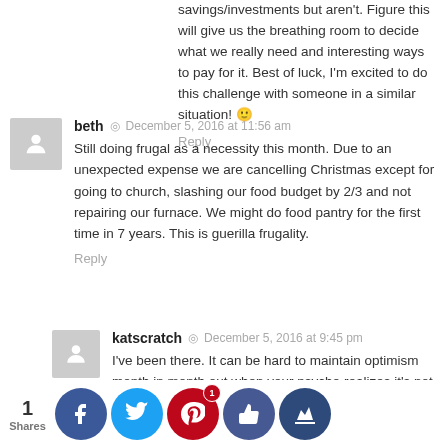savings/investments but aren't. Figure this will give us the breathing room to decide what we really need and interesting ways to pay for it. Best of luck, I'm excited to do this challenge with someone in a similar situation! 🙂
Reply
beth  •  December 5, 2016 at 11:56 am
Still doing frugal as a necessity this month. Due to an unexpected expense we are cancelling Christmas except for going to church, slashing our food budget by 2/3 and not repairing our furnace. We might do food pantry for the first time in 7 years. This is guerilla frugality.
Reply
katscratch  •  December 5, 2016 at 9:45 pm
I've been there. It can be hard to maintain optimism month in month out when your psyche realizes it's not a choice but a necessity. It sounds like you have a good plan already, though!
My family celebrates a very quiet Christmas and we aren't big [presents, paying to just … in each …'s comp… …w opini…are kee… importa…rt of th…]
1 Shares [social share icons: Facebook, Twitter, Pinterest (1), Like, Crown]